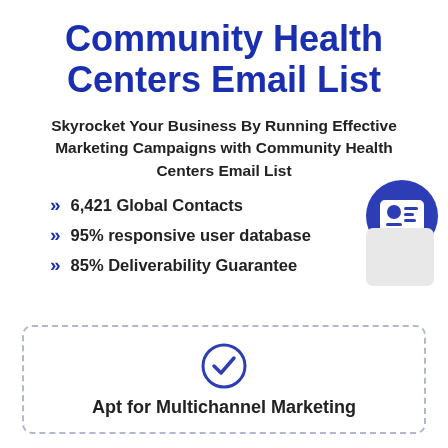Community Health Centers Email List
Skyrocket Your Business By Running Effective Marketing Campaigns with Community Health Centers Email List
6,421 Global Contacts
95% responsive user database
85% Deliverability Guarantee
Apt for Multichannel Marketing